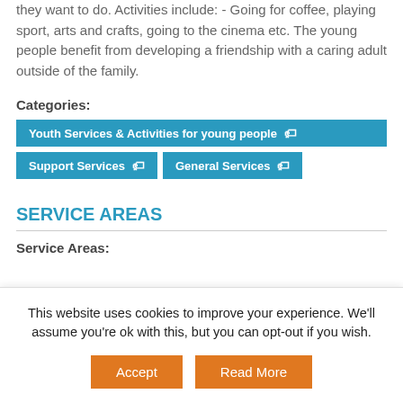they want to do. Activities include: - Going for coffee, playing sport, arts and crafts, going to the cinema etc. The young people benefit from developing a friendship with a caring adult outside of the family.
Categories:
Youth Services & Activities for young people
Support Services
General Services
SERVICE AREAS
Service Areas:
This website uses cookies to improve your experience. We'll assume you're ok with this, but you can opt-out if you wish.